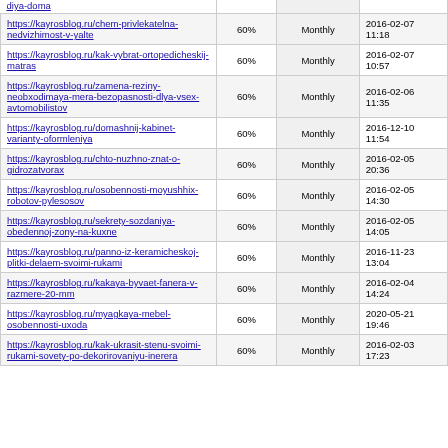| URL | Priority | Change Frequency | Last Modified |
| --- | --- | --- | --- |
| https://kayrosblog.ru/chem-privlekatelna-nedvizhimost-v-yalte | 60% | Monthly | 2016-02-07 11:18 |
| https://kayrosblog.ru/kak-vybrat-ortopedicheskij-matras | 60% | Monthly | 2016-02-07 10:57 |
| https://kayrosblog.ru/zamena-reziny-neobxodimaya-mera-bezopasnosti-dlya-vsex-avtomobilistov | 60% | Monthly | 2016-02-06 11:35 |
| https://kayrosblog.ru/domashnij-kabinet-varianty-oformleniya | 60% | Monthly | 2016-12-10 11:54 |
| https://kayrosblog.ru/chto-nuzhno-znat-o-gidrozatvorax | 60% | Monthly | 2016-02-05 20:36 |
| https://kayrosblog.ru/osobennosti-moyushhix-robotov-pylesosov | 60% | Monthly | 2016-02-05 14:30 |
| https://kayrosblog.ru/sekrety-sozdaniya-obedennoj-zony-na-kuxne | 60% | Monthly | 2016-02-05 14:05 |
| https://kayrosblog.ru/panno-iz-keramicheskoj-plitki-delaem-svoimi-rukami | 60% | Monthly | 2016-11-23 13:04 |
| https://kayrosblog.ru/kakaya-byvaet-fanera-v-razmere-20-mm | 60% | Monthly | 2016-02-04 14:24 |
| https://kayrosblog.ru/myagkaya-mebel-osobennosti-uxoda | 60% | Monthly | 2020-05-21 19:46 |
| https://kayrosblog.ru/kak-ukrasit-stenu-svoimi-rukami-sovety-po-dekorirovaniyu-inerera | 60% | Monthly | 2016-02-03 17:23 |